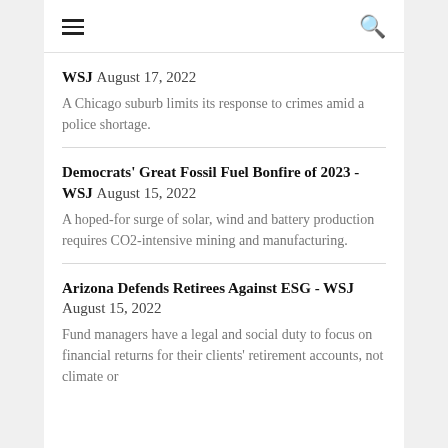☰  🔍
WSJ August 17, 2022
A Chicago suburb limits its response to crimes amid a police shortage.
Democrats' Great Fossil Fuel Bonfire of 2023 - WSJ August 15, 2022
A hoped-for surge of solar, wind and battery production requires CO2-intensive mining and manufacturing.
Arizona Defends Retirees Against ESG - WSJ August 15, 2022
Fund managers have a legal and social duty to focus on financial returns for their clients' retirement accounts, not climate or